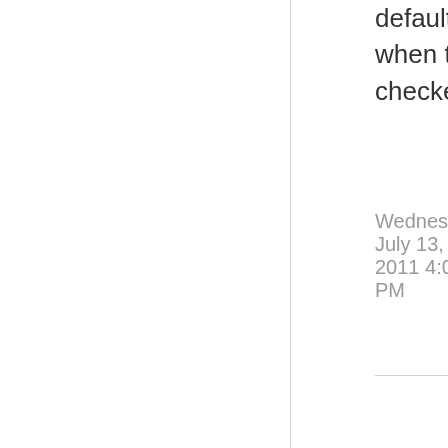default to always be Busy even when the All Day Event box is checked?
Wednesday, July 13, 2011 4:00 PM
[Figure (illustration): Gray square avatar icon with a speech bubble/comment symbol inside]
[Figure (illustration): Gray upward pointing triangle (upvote arrow)]
0
Sign in to vote
Hi Steve-Y,
Did you ever get the answer to this?